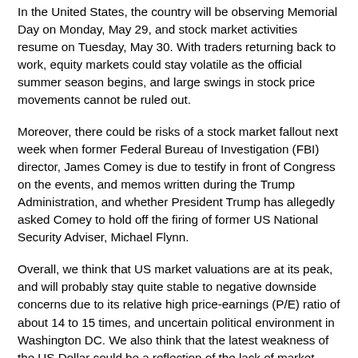In the United States, the country will be observing Memorial Day on Monday, May 29, and stock market activities resume on Tuesday, May 30. With traders returning back to work, equity markets could stay volatile as the official summer season begins, and large swings in stock price movements cannot be ruled out.
Moreover, there could be risks of a stock market fallout next week when former Federal Bureau of Investigation (FBI) director, James Comey is due to testify in front of Congress on the events, and memos written during the Trump Administration, and whether President Trump has allegedly asked Comey to hold off the firing of former US National Security Adviser, Michael Flynn.
Overall, we think that US market valuations are at its peak, and will probably stay quite stable to negative downside concerns due to its relative high price-earnings (P/E) ratio of about 14 to 15 times, and uncertain political environment in Washington DC. We also think that the latest weakness of the US Dollar could be a reflection of the lack of market confidence in the